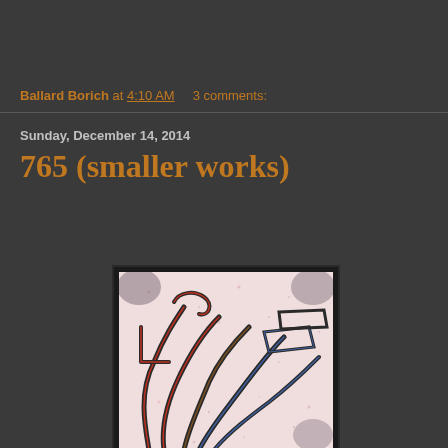Ballard Borich at 4:10 AM   3 comments:
Sunday, December 14, 2014
765 (smaller works)
[Figure (illustration): Abstract artwork showing overlapping curved and angular line forms in dark outlines with red, orange, and blue coloring on a pinkish-white background, resembling a hand or organic shapes, displayed in a framed format with white mat border and dark outer frame.]